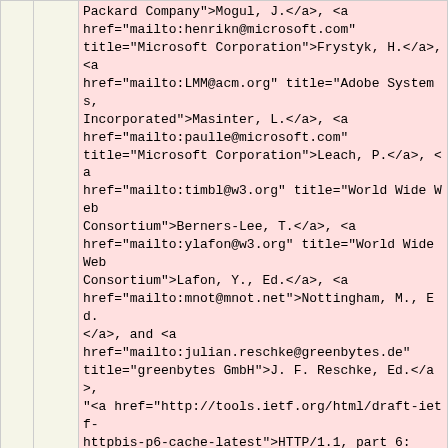Packard Company">Mogul, J.</a>, <a href="mailto:henrikn@microsoft.com" title="Microsoft Corporation">Frystyk, H.</a>, <a href="mailto:LMM@acm.org" title="Adobe Systems, Incorporated">Masinter, L.</a>, <a href="mailto:paulle@microsoft.com" title="Microsoft Corporation">Leach, P.</a>, <a href="mailto:timbl@w3.org" title="World Wide Web Consortium">Berners-Lee, T.</a>, <a href="mailto:ylafon@w3.org" title="World Wide Web Consortium">Lafon, Y., Ed.</a>, <a href="mailto:mnot@mnot.net">Nottingham, M., Ed.</a>, and <a href="mailto:julian.reschke@greenbytes.de" title="greenbytes GmbH">J. F. Reschke, Ed.</a>, "<a href="http://tools.ietf.org/html/draft-ietf-httpbis-p6-cache-latest">HTTP/1.1, part 6: Caching</a>", Internet-Draft&nbsp;draft-ietf-httpbis-p6-cache-latest (work in progress), May&nbsp;2010.
811    <td class="top"><a href="mailto:fielding@gbiv.com" title="Day Software">Fielding, R., Ed.</a>, <a href="mailto:jg@laptop.org" title="One Laptop per Child">Gettys, J.</a>, <a href="mailto:JeffMogul@acm.org" title="Hewlett-Packard Company">Mogul, J.</a>, <a href="mailto:henrikn@microsoft.com" title="Microsoft Corporation">Frystyk, H.</a>, <a href="mailto:LMM@acm.org" title="Adobe Systems, Incorporated">Masinter, L.</a>, <a href="mailto:paulle@microsoft.com" title="Microsoft Corporation">Leach, P.</a>, <a href="mailto:timbl@w3.org" title="World Wide Web Consortium">Berners-Lee, T.</a>, <a href="mailto:ylafon@w3.org" title="World Wide Web Consortium">Lafon, Y., Ed.</a>, <a